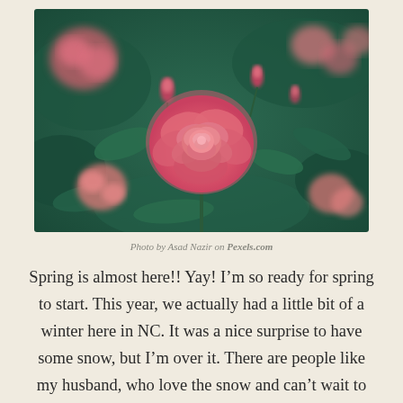[Figure (photo): Close-up photograph of pink roses in bloom with green foliage background. A large, fully open pink rose is centered in the foreground with several rose buds and other blooms surrounding it on a soft-focus green background.]
Photo by Asad Nazir on Pexels.com
Spring is almost here!! Yay! I’m so ready for spring to start. This year, we actually had a little bit of a winter here in NC. It was a nice surprise to have some snow, but I’m over it. There are people like my husband, who love the snow and can’t wait to drive and play in it. Then there are people like me, who